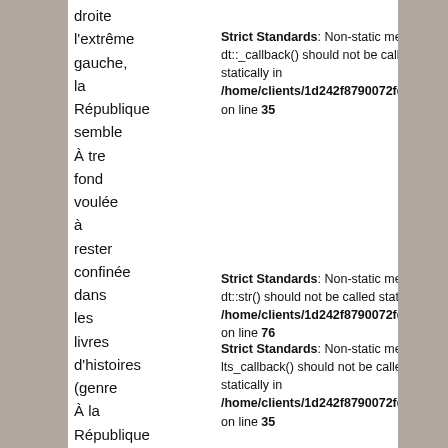droite
Strict Standards: Non-static method dt::_callback() should not be called statically in /home/clients/1d242f8790072fdd395c on line 35
l'extrême
gauche,
ia
pubrique
semble
À tre
fond
voulée
à
rester
confinée
dans
les
livres
d'histoires
(genre
À la
République
de
papa A2),
sans
effectif
Strict Standards: Non-static method dt::str() should not be called statically in /home/clients/1d242f8790072fdd395c on line 76
Strict Standards: Non-static method lts_callback() should not be called statically in /home/clients/1d242f8790072fdd395c on line 35
Strict Standards: Non-static method dt::_callback() should not be called statically in /home/clients/1d242f8790072fdd395c on line 35
Strict Standards: Non-static method dt::str() should not be called statically in /home/clients/1d242f8790072fdd395c